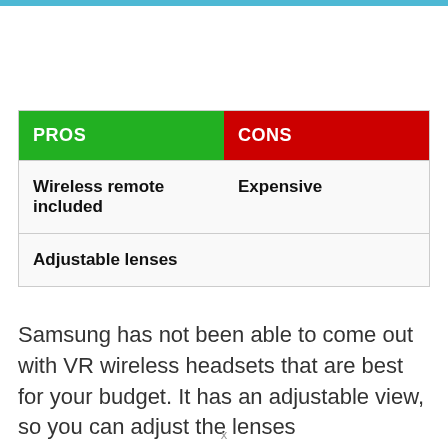| PROS | CONS |
| --- | --- |
| Wireless remote included | Expensive |
| Adjustable lenses |  |
Samsung has not been able to come out with VR wireless headsets that are best for your budget. It has an adjustable view, so you can adjust the lenses